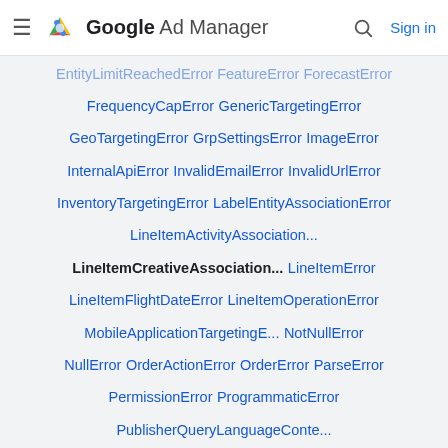Google Ad Manager — Sign in
EntityLimitReachedError FeatureError ForecastError FrequencyCapError GenericTargetingError GeoTargetingError GrpSettingsError ImageError InternalApiError InvalidEmailError InvalidUrlError InventoryTargetingError LabelEntityAssociationError LineItemActivityAssociation... LineItemCreativeAssociation... LineItemError LineItemFlightDateError LineItemOperationError MobileApplicationTargetingE... NotNullError NullError OrderActionError OrderError ParseError PermissionError ProgrammaticError PublisherQueryLanguageConte... PublisherQueryLanguageSynta... QuotaError RangeError RegExError RequestPlatformTargetingError RequiredCollectionError RequiredError RequiredNumberError RequiredSizeError